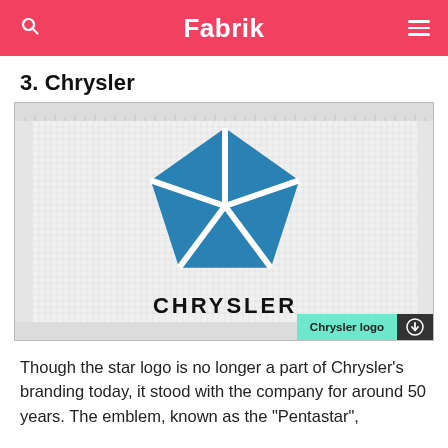Fabrik
3. Chrysler
[Figure (logo): Chrysler pentastar logo — a blue pentagon shape with a five-pointed star cut out in white, with the word CHRYSLER in bold black capitals below, shown on a grid/graph-paper background. A teal 'Chrysler logo' download button appears in the lower right.]
Though the star logo is no longer a part of Chrysler's branding today, it stood with the company for around 50 years. The emblem, known as the "Pentastar",